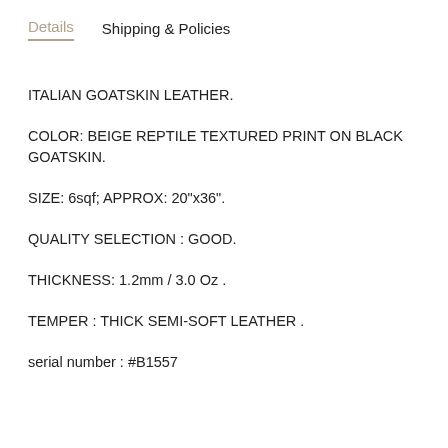Details | Shipping & Policies
ITALIAN GOATSKIN LEATHER.
COLOR: BEIGE REPTILE TEXTURED PRINT ON BLACK GOATSKIN.
SIZE: 6sqf; APPROX: 20"x36".
QUALITY SELECTION : GOOD.
THICKNESS: 1.2mm / 3.0 Oz .
TEMPER : THICK SEMI-SOFT LEATHER .
serial number : #B1557